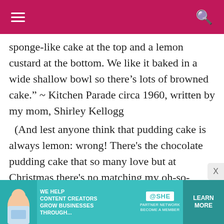Navigation header with hamburger menu and search icon
sponge-like cake at the top and a lemon custard at the bottom. We like it baked in a wide shallow bowl so there’s lots of browned cake.” ~ Kitchen Parade circa 1960, written by my mom, Shirley Kellogg
(And lest anyone think that pudding cake is always lemon: wrong! There’s the chocolate pudding cake that so many love but at Christmas there’s no matching my oh-so-heart-stopping Gingerbread Pudding Cake and in spring, Rhubarb Pudding Cake. Heaven!)
[Figure (photo): Advertisement banner: SHE Media Partner Network - We help content creators grow businesses through... Learn More button on teal background]